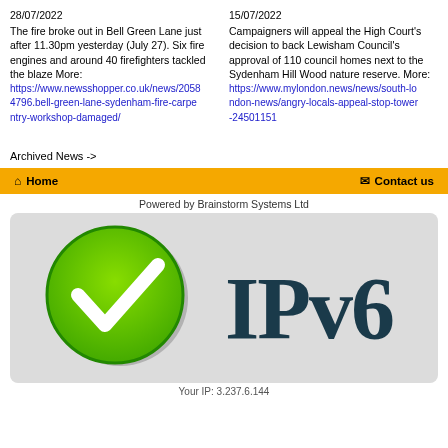28/07/2022
The fire broke out in Bell Green Lane just after 11.30pm yesterday (July 27). Six fire engines and around 40 firefighters tackled the blaze More:
https://www.newsshopper.co.uk/news/20584796.bell-green-lane-sydenham-fire-carpentry-workshop-damaged/
15/07/2022
Campaigners will appeal the High Court's decision to back Lewisham Council's approval of 110 council homes next to the Sydenham Hill Wood nature reserve. More:
https://www.mylondon.news/news/south-london-news/angry-locals-appeal-stop-tower-24501151
Archived News ->
Home   Contact us
Powered by Brainstorm Systems Ltd
[Figure (logo): IPv6 ready badge showing a green checkmark circle on the left and 'IPv6' text in dark teal on the right, on a light grey background]
Your IP: 3.237.6.144